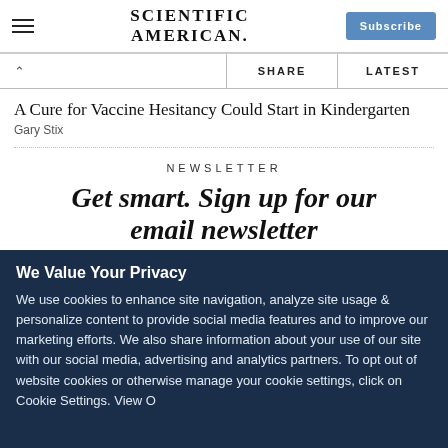SCIENTIFIC AMERICAN
SHARE   LATEST
A Cure for Vaccine Hesitancy Could Start in Kindergarten
Gary Stix
NEWSLETTER
Get smart. Sign up for our email newsletter
We Value Your Privacy
We use cookies to enhance site navigation, analyze site usage & personalize content to provide social media features and to improve our marketing efforts. We also share information about your use of our site with our social media, advertising and analytics partners. To opt out of website cookies or otherwise manage your cookie settings, click on Cookie Settings. View O